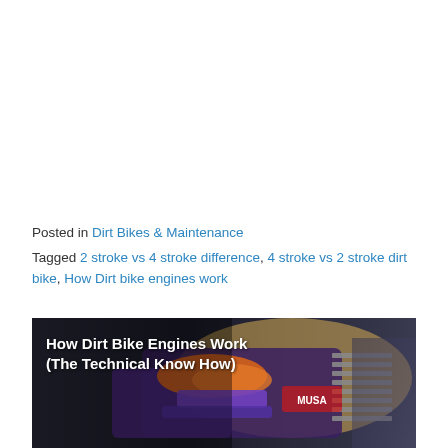Posted in Dirt Bikes & Maintenance
Tagged 2 stroke vs 4 stroke difference, 4 stroke vs 2 stroke dirt bike, How Dirt bike engines work
[Figure (photo): Dirt bike engine close-up with text overlay: 'How Dirt Bike Engines Work (The Technical Know How)']